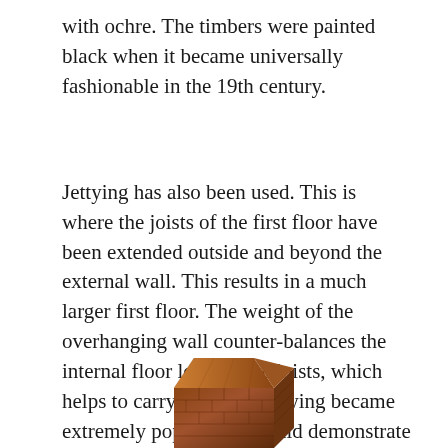with ochre. The timbers were painted black when it became universally fashionable in the 19th century.
Jettying has also been used. This is where the joists of the first floor have been extended outside and beyond the external wall. This results in a much larger first floor. The weight of the overhanging wall counter-balances the internal floor load on the joists, which helps to carry the load. Jettying became extremely popular and could demonstrate to others that it was a modern house.
[Figure (photo): Bottom portion of a photograph showing a brick or timber structure, partially cut off at the bottom of the page.]